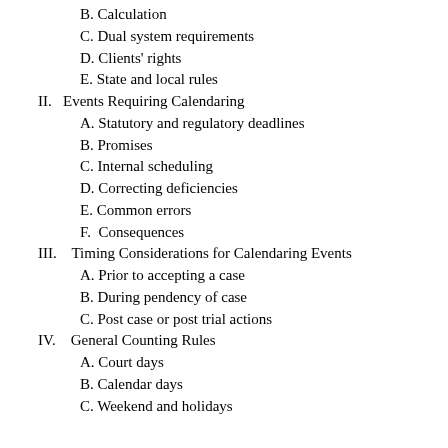B. Calculation
C. Dual system requirements
D. Clients' rights
E. State and local rules
II.   Events Requiring Calendaring
A. Statutory and regulatory deadlines
B. Promises
C. Internal scheduling
D. Correcting deficiencies
E. Common errors
F.  Consequences
III.    Timing Considerations for Calendaring Events
A. Prior to accepting a case
B. During pendency of case
C. Post case or post trial actions
IV.    General Counting Rules
A. Court days
B. Calendar days
C. Weekend and holidays